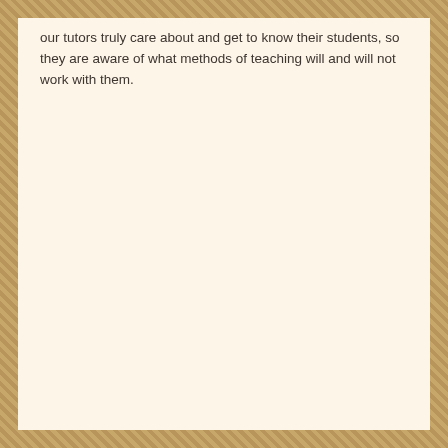our tutors truly care about and get to know their students, so they are aware of what methods of teaching will and will not work with them.